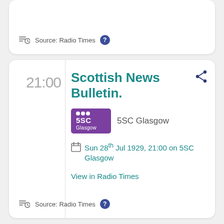Source: Radio Times
Scottish News Bulletin.
5SC Glasgow
Sun 28th Jul 1929, 21:00 on 5SC Glasgow
View in Radio Times
Source: Radio Times